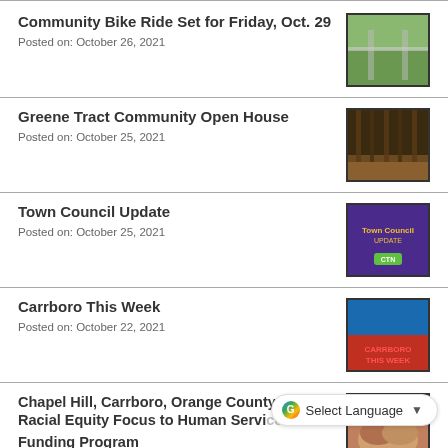Community Bike Ride Set for Friday, Oct. 29
Posted on: October 26, 2021
Greene Tract Community Open House
Posted on: October 25, 2021
Town Council Update
Posted on: October 25, 2021
Carrboro This Week
Posted on: October 22, 2021
Chapel Hill, Carrboro, Orange County Bring Racial Equity Focus to Human Services Funding Program
Posted on: October 20, 2021